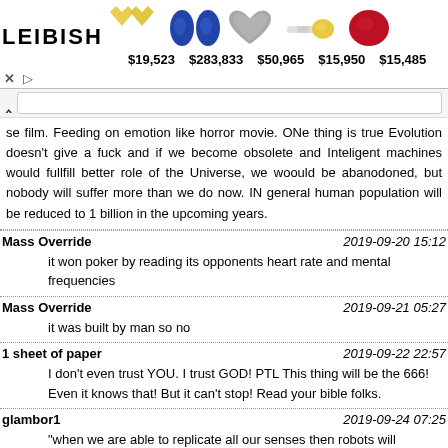[Figure (screenshot): Advertisement banner for Leibish jewelry showing gemstone images and prices: $19,523, $283,833, $50,965, $15,950, $15,485]
se film. Feeding on emotion like horror movie. ONe thing is true Evolution doesn't give a fuck and if we become obsolete and Inteligent machines would fullfill better role of the Universe, we woould be abanodoned, but nobody will suffer more than we do now. IN general human population will be reduced to 1 billion in the upcoming years.
Mass Override	2019-09-20 15:12
it won poker by reading its opponents heart rate and mental frequencies
Mass Override	2019-09-21 05:27
it was built by man so no
1 sheet of paper	2019-09-22 22:57
I don't even trust YOU. I trust GOD! PTL This thing will be the 666! Even it knows that! But it can't stop! Read your bible folks.
glambor1	2019-09-24 07:25
"when we are able to replicate all our senses then robots will become like us" this is one of the most self ignorant statements made. find out first what will make a piece of meat or flesh come alive in a shape and form that you are once you